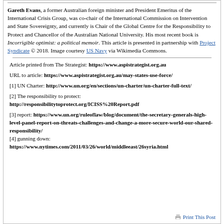Gareth Evans, a former Australian foreign minister and President Emeritus of the International Crisis Group, was co-chair of the International Commission on Intervention and State Sovereignty, and currently is Chair of the Global Centre for the Responsibility to Protect and Chancellor of the Australian National University. His most recent book is Incorrigible optimist: a political memoir. This article is presented in partnership with Project Syndicate © 2018. Image courtesy US Navy via Wikimedia Commons.
Article printed from The Strategist: https://www.aspistrategist.org.au
URL to article: https://www.aspistrategist.org.au/may-states-use-force/
[1] UN Charter: http://www.un.org/en/sections/un-charter/un-charter-full-text/
[2] The responsibility to protect: http://responsibilitytoprotect.org/ICISS%20Report.pdf
[3] report: https://www.un.org/ruleoflaw/blog/document/the-secretary-generals-high-level-panel-report-on-threats-challenges-and-change-a-more-secure-world-our-shared-responsibility/
[4] gunning down: https://www.nytimes.com/2011/03/26/world/middleeast/26syria.html
Print This Post